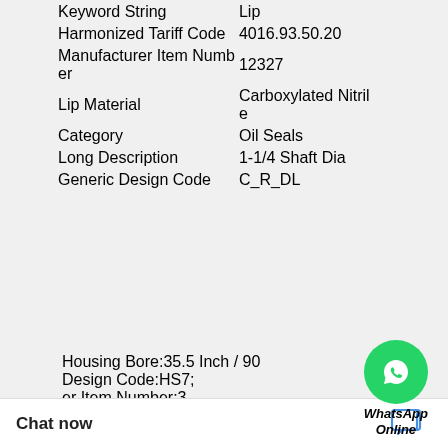|  |  |
| --- | --- |
| Keyword String | Lip |
| Harmonized Tariff Code | 4016.93.50.20 |
| Manufacturer Item Number | 12327 |
| Lip Material | Carboxylated Nitrile |
| Category | Oil Seals |
| Long Description | 1-1/4 Shaft Dia |
| Generic Design Code | C_R_DL |
|  |  |
| --- | --- |
|  | Housing Bore:35.5 Inch / 90
Design Code:HS7;
er Item Number:3 |
Chat now